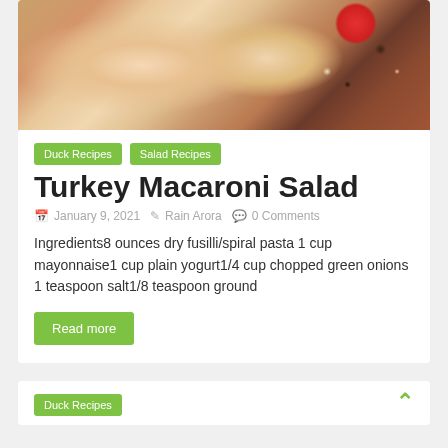[Figure (photo): Close-up food photo showing sliced meat (turkey/duck) with herbs and spices crust, cherry tomato and peppercorns on dark wooden background]
Duck Recipes
Salad Recipes
Turkey Macaroni Salad
January 9, 2021   Rain Arora   0 Comments
Ingredients8 ounces dry fusilli/spiral pasta 1 cup mayonnaise1 cup plain yogurt1/4 cup chopped green onions 1 teaspoon salt1/8 teaspoon ground
Read more
Duck Recipes